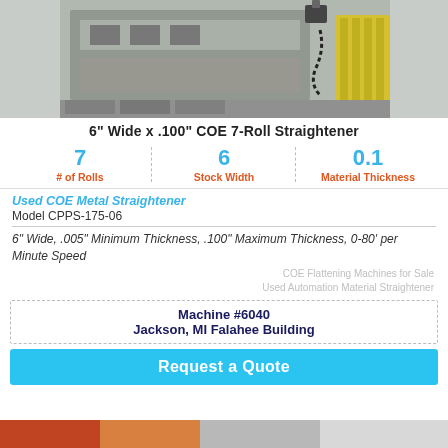[Figure (photo): Photo of a COE 7-Roll metal straightener machine, industrial equipment with metallic components and a yellow brush/roller visible on the right side]
6" Wide x .100" COE 7-Roll Straightener
7 # of Rolls | 6 Stock Width | 0.1 Material Thickness
Used COE Metal Straightener
Model CPPS-175-06
6" Wide, .005" Minimum Thickness, .100" Maximum Thickness, 0-80' per Minute Speed
COE Flattening Machines for Sale
Used Automation Material Straightener
Machine #6040
Jackson, MI Falahee Building
Request a Quote
[Figure (photo): Partial photo of another industrial machine at the bottom of the page]